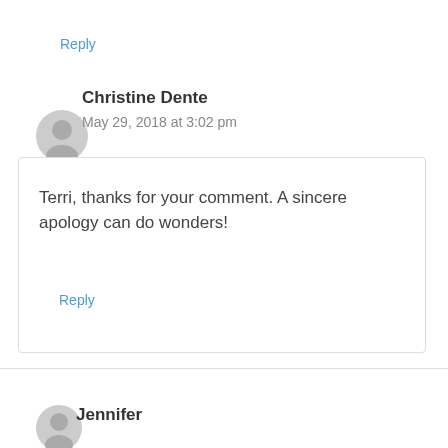Reply
Christine Dente
May 29, 2018 at 3:02 pm
Terri, thanks for your comment. A sincere apology can do wonders!
Reply
Jennifer